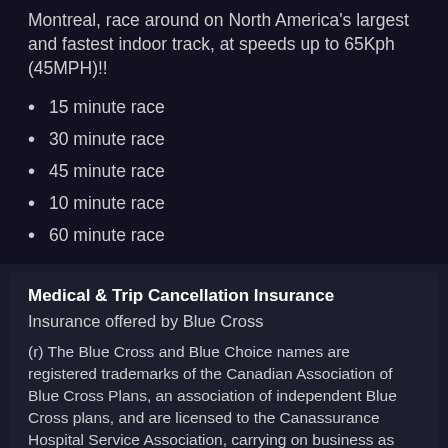Montreal, race around on North America's largest and fastest indoor track, at speeds up to 65Kph (45MPH)!!
15 minute race
30 minute race
45 minute race
10 minute race
60 minute race
Medical & Trip Cancellation Insurance
Insurance offered by Blue Cross
(r) The Blue Cross and Blue Choice names are registered trademarks of the Canadian Association of Blue Cross Plans, an association of independent Blue Cross plans, and are licensed to the Canassurance Hospital Service Association, carrying on business as Ontario Blue Cross.